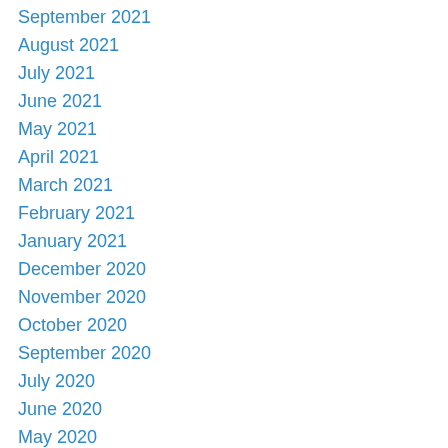September 2021
August 2021
July 2021
June 2021
May 2021
April 2021
March 2021
February 2021
January 2021
December 2020
November 2020
October 2020
September 2020
July 2020
June 2020
May 2020
April 2020
February 2020
January 2020
December 2019